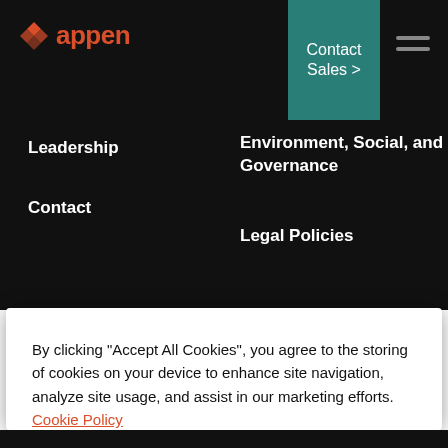[Figure (logo): Appen logo with red diamond icon and 'appen' wordmark in red]
Contact Sales >
Leadership
Environment, Social, and Governance
Contact
Legal Policies
By clicking “Accept All Cookies”, you agree to the storing of cookies on your device to enhance site navigation, analyze site usage, and assist in our marketing efforts. Cookie Policy
Accept All Cookies
Cookies Settings